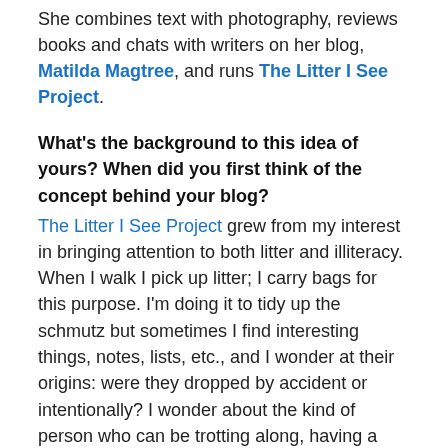She combines text with photography, reviews books and chats with writers on her blog, Matilda Magtree, and runs The Litter I See Project.
What's the background to this idea of yours? When did you first think of the concept behind your blog?
The Litter I See Project grew from my interest in bringing attention to both litter and illiteracy. When I walk I pick up litter; I carry bags for this purpose. I'm doing it to tidy up the schmutz but sometimes I find interesting things, notes, lists, etc., and I wonder at their origins: were they dropped by accident or intentionally? I wonder about the kind of person who can be trotting along, having a fine time in a park, at the beach, on a street, anywhere really, and then just toss a can or water bottle on the ground and keep going. I wonder what they think will happen to it and if they'd even notice or care if someone did the same thing